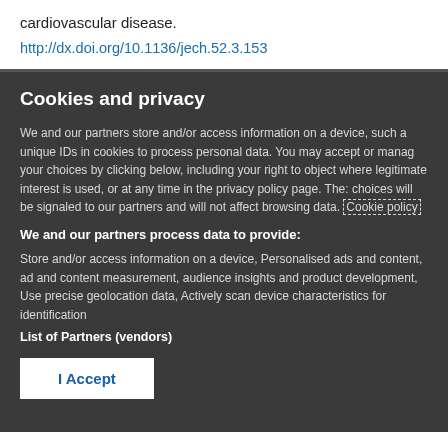cardiovascular disease.
http://dx.doi.org/10.1136/jech.52.3.153
Cookies and privacy
We and our partners store and/or access information on a device, such a unique IDs in cookies to process personal data. You may accept or manage your choices by clicking below, including your right to object where legitimate interest is used, or at any time in the privacy policy page. These choices will be signaled to our partners and will not affect browsing data. Cookie policy
We and our partners process data to provide:
Store and/or access information on a device, Personalised ads and content, ad and content measurement, audience insights and product development, Use precise geolocation data, Actively scan device characteristics for identification
List of Partners (vendors)